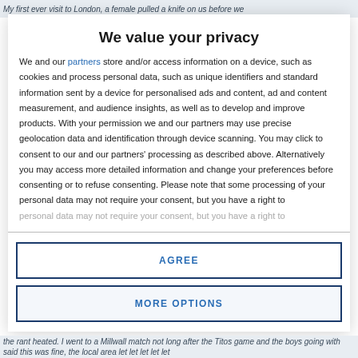My first ever visit to London, a female pulled a knife on us before we
We value your privacy
We and our partners store and/or access information on a device, such as cookies and process personal data, such as unique identifiers and standard information sent by a device for personalised ads and content, ad and content measurement, and audience insights, as well as to develop and improve products. With your permission we and our partners may use precise geolocation data and identification through device scanning. You may click to consent to our and our partners' processing as described above. Alternatively you may access more detailed information and change your preferences before consenting or to refuse consenting. Please note that some processing of your personal data may not require your consent, but you have a right to
AGREE
MORE OPTIONS
the rant heated. I went to a Millwall match not long after the Titos game and the boys going with said this was fine, the local area ket ket ket ket ket